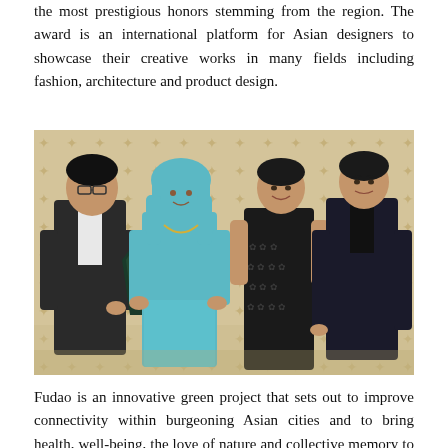the most prestigious honors stemming from the region. The award is an international platform for Asian designers to showcase their creative works in many fields including fashion, architecture and product design.
[Figure (photo): Four people posing for a photo at an awards ceremony. From left: a man in a dark suit, a woman in a teal/turquoise outfit holding an award trophy, a woman in a dark floral qipao dress, and a young man in a dark suit. Background has a gold star patterned wallpaper.]
Fudao is an innovative green project that sets out to improve connectivity within burgeoning Asian cities and to bring health, well-being, the love of nature and collective memory to city dwellers. It is a landscape design project that emphasises diversity and accessibility...